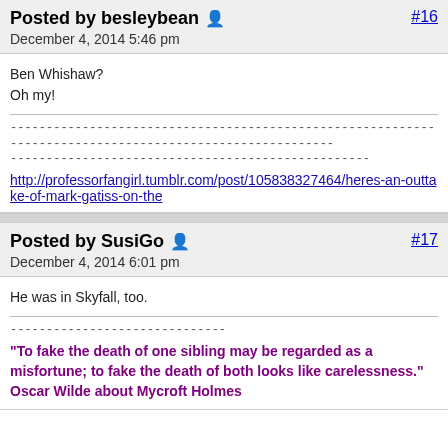Posted by besleybean #16
December 4, 2014 5:46 pm
Ben Whishaw?
Oh my!
http://professorfangirl.tumblr.com/post/105838327464/heres-an-outtake-of-mark-gatiss-on-the
Posted by SusiGo #17
December 4, 2014 6:01 pm
He was in Skyfall, too.
"To fake the death of one sibling may be regarded as a misfortune; to fake the death of both looks like carelessness." Oscar Wilde about Mycroft Holmes